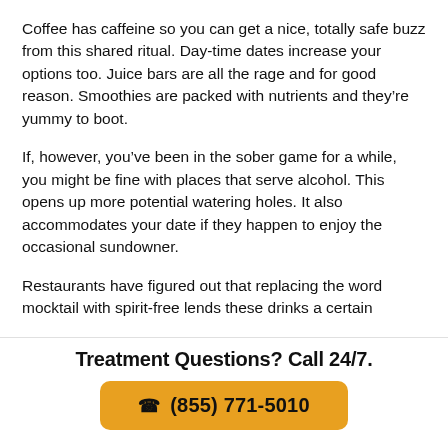Coffee has caffeine so you can get a nice, totally safe buzz from this shared ritual. Day-time dates increase your options too. Juice bars are all the rage and for good reason. Smoothies are packed with nutrients and they're yummy to boot.
If, however, you've been in the sober game for a while, you might be fine with places that serve alcohol. This opens up more potential watering holes. It also accommodates your date if they happen to enjoy the occasional sundowner.
Restaurants have figured out that replacing the word mocktail with spirit-free lends these drinks a certain
Treatment Questions? Call 24/7.
☎ (855) 771-5010